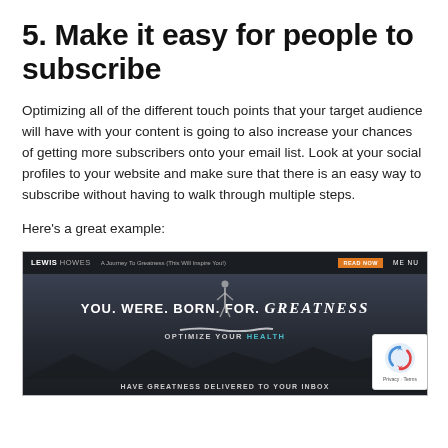5. Make it easy for people to subscribe
Optimizing all of the different touch points that your target audience will have with your content is going to also increase your chances of getting more subscribers onto your email list. Look at your social profiles to your website and make sure that there is an easy way to subscribe without having to walk through multiple steps.
Here's a great example:
[Figure (screenshot): Screenshot of Lewis Howes website with dark hero image showing 'YOU. WERE. BORN. FOR. GREATNESS' headline, 'OPTIMIZE YOUR HEALTH' subtext, and 'HAVE GREATNESS DELIVERED TO YOUR INBOX' call to action. Navigation bar shows Lewis Howes logo, article title, orange READ NOW button, and MENU. A reCAPTCHA badge appears on the right with Privacy and Terms text.]